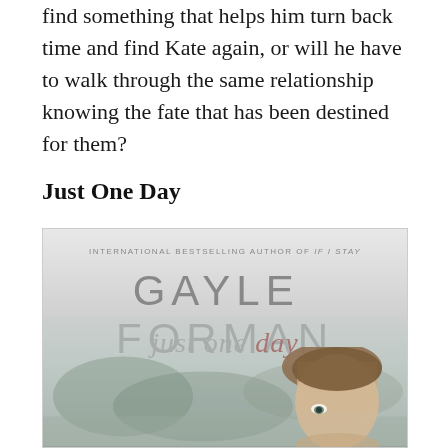find something that helps him turn back time and find Kate again, or will he have to walk through the same relationship knowing the fate that has been destined for them?
Just One Day
[Figure (photo): Book cover of 'Just One Day' by Gayle Forman. The cover shows the author name 'GAYLE FORMAN' in large gray letters, with the subtitle text 'just one day' below it in italic gray with 'day' in red. The background is a muted, foggy outdoor scene. The lower portion shows the top of a young woman's head with brown hair and eyes visible.]